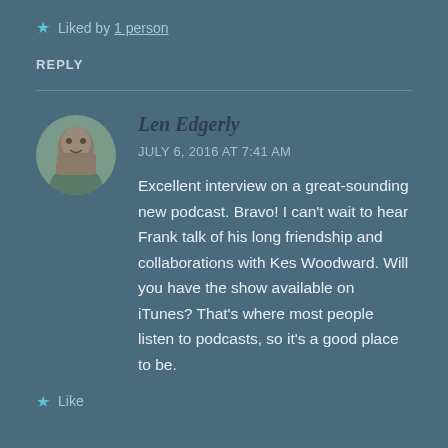★ Liked by 1 person
REPLY
Len Edgerly
JULY 6, 2016 AT 7:41 AM
Excellent interview on a great-sounding new podcast. Bravo! I can't wait to hear Frank talk of his long friendship and collaborations with Kes Woodward. Will you have the show available on iTunes? That's where most people listen to podcasts, so it's a good place to be.
★ Like